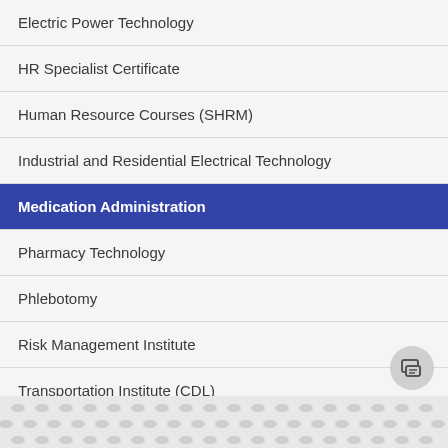Electric Power Technology
HR Specialist Certificate
Human Resource Courses (SHRM)
Industrial and Residential Electrical Technology
Medication Administration
Pharmacy Technology
Phlebotomy
Risk Management Institute
Transportation Institute (CDL)
[Figure (photo): Decorative pattern with small oval/leaf shapes in gray tones at the bottom of the page]